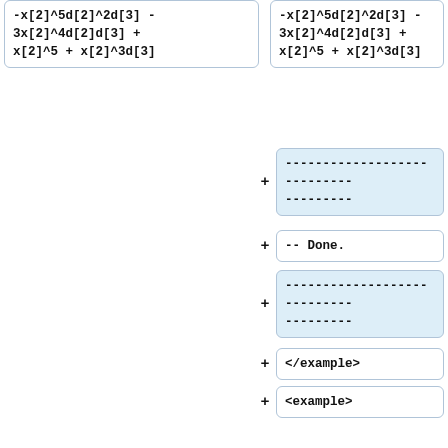-x[2]^5d[2]^2d[3] - 3x[2]^4d[2]d[3] + x[2]^5 + x[2]^3d[3]
-x[2]^5d[2]^2d[3] - 3x[2]^4d[2]d[3] + x[2]^5 + x[2]^3d[3]
---------------------------- --------
-- Done.
---------------------------- --------
</example>
<example>
Use A1::=QQ[x,d];
Weyl.WNR(xd,d);
-- CoCoAServer: computing Cpu Time = 0